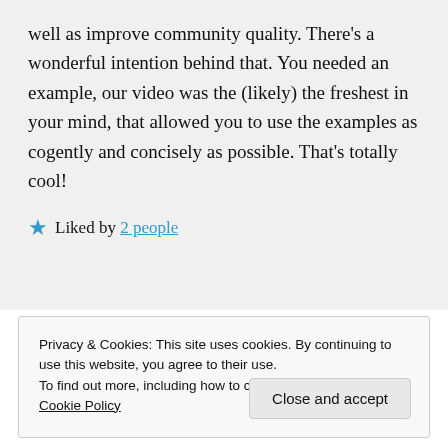well as improve community quality. There's a wonderful intention behind that. You needed an example, our video was the (likely) the freshest in your mind, that allowed you to use the examples as cogently and concisely as possible. That's totally cool!
★ Liked by 2 people
Privacy & Cookies: This site uses cookies. By continuing to use this website, you agree to their use. To find out more, including how to control cookies, see here: Cookie Policy
Close and accept